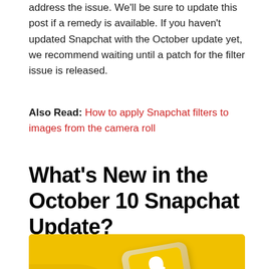address the issue. We'll be sure to update this post if a remedy is available. If you haven't updated Snapchat with the October update yet, we recommend waiting until a patch for the filter issue is released.
Also Read: How to apply Snapchat filters to images from the camera roll
What's New in the October 10 Snapchat Update?
[Figure (photo): A smartphone with a yellow Snapchat ghost logo on screen, lying on a yellow background with yellow fabric.]